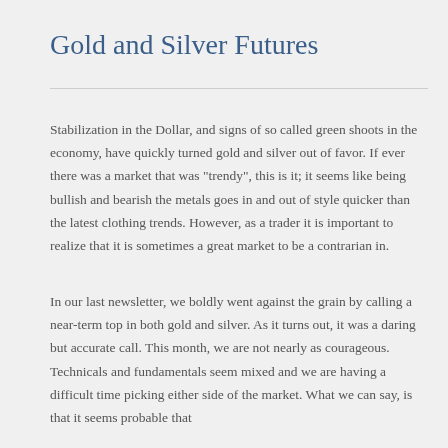Gold and Silver Futures
Stabilization in the Dollar, and signs of so called green shoots in the economy, have quickly turned gold and silver out of favor.  If ever there was a market that was "trendy", this is it; it seems like being bullish and bearish the metals goes in and out of style quicker than the latest clothing trends.  However, as a trader it is important to realize that it is sometimes a great market to be a contrarian in.
In our last newsletter, we boldly went against the grain by calling a near-term top in both gold and silver.  As it turns out, it was a daring but accurate call.  This month, we are not nearly as courageous.  Technicals and fundamentals seem mixed and we are having a difficult time picking either side of the market.  What we can say, is that it seems probable that